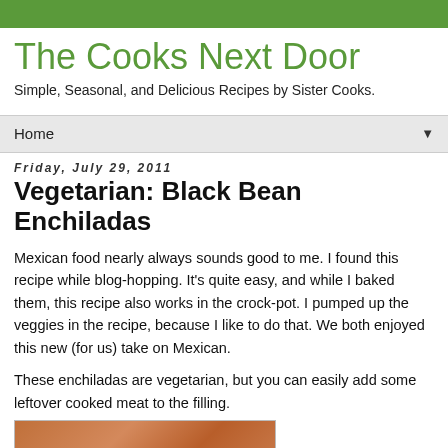The Cooks Next Door
Simple, Seasonal, and Delicious Recipes by Sister Cooks.
Home
Friday, July 29, 2011
Vegetarian: Black Bean Enchiladas
Mexican food nearly always sounds good to me. I found this recipe while blog-hopping. It's quite easy, and while I baked them, this recipe also works in the crock-pot. I pumped up the veggies in the recipe, because I like to do that. We both enjoyed this new (for us) take on Mexican.
These enchiladas are vegetarian, but you can easily add some leftover cooked meat to the filling.
[Figure (photo): Photo of black bean enchiladas dish, partially visible at bottom of page]